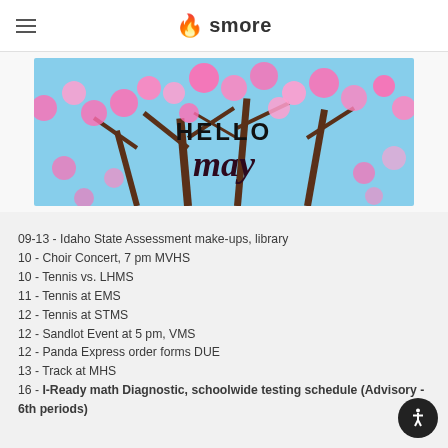smore
[Figure (illustration): Hello May spring cherry blossom banner image with pink flowers and blue sky background]
09-13 - Idaho State Assessment make-ups, library
10 - Choir Concert, 7 pm MVHS
10 - Tennis vs. LHMS
11 - Tennis at EMS
12 - Tennis at STMS
12 - Sandlot Event at 5 pm, VMS
12 - Panda Express order forms DUE
13 - Track at MHS
16 - I-Ready math Diagnostic, schoolwide testing schedule (Advisory - 6th periods)